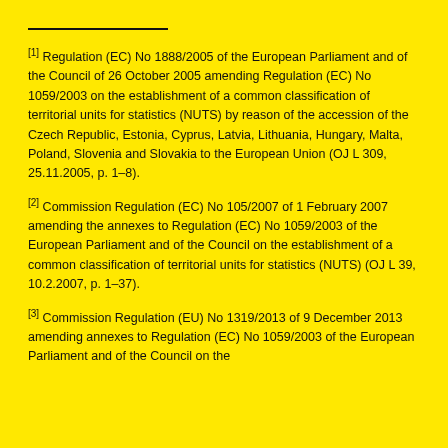[1] Regulation (EC) No 1888/2005 of the European Parliament and of the Council of 26 October 2005 amending Regulation (EC) No 1059/2003 on the establishment of a common classification of territorial units for statistics (NUTS) by reason of the accession of the Czech Republic, Estonia, Cyprus, Latvia, Lithuania, Hungary, Malta, Poland, Slovenia and Slovakia to the European Union (OJ L 309, 25.11.2005, p. 1–8).
[2] Commission Regulation (EC) No 105/2007 of 1 February 2007 amending the annexes to Regulation (EC) No 1059/2003 of the European Parliament and of the Council on the establishment of a common classification of territorial units for statistics (NUTS) (OJ L 39, 10.2.2007, p. 1–37).
[3] Commission Regulation (EU) No 1319/2013 of 9 December 2013 amending annexes to Regulation (EC) No 1059/2003 of the European Parliament and of the Council on the establishment of a common classification of territorial units for statistics (NUTS)...